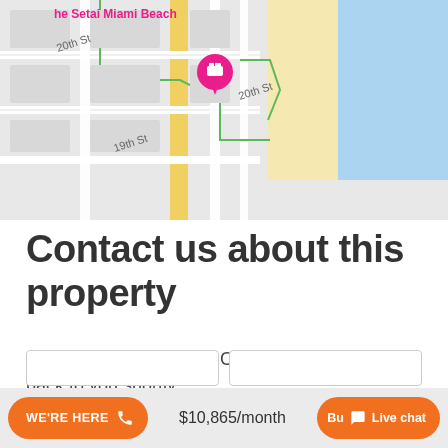[Figure (map): Google Maps view showing The Setai Miami Beach area with 20th St and 19th St labeled, a pink hotel location pin, streets, and beach/ocean in blue]
Contact us about this property
Fill in your details and a Condo Specialist will get back to you shortly.
[Figure (screenshot): Two input form fields partially visible at the bottom of the contact form]
WE'RE HERE  [phone icon]  $10,865/month  Bu[y]  [chat icon] Live chat